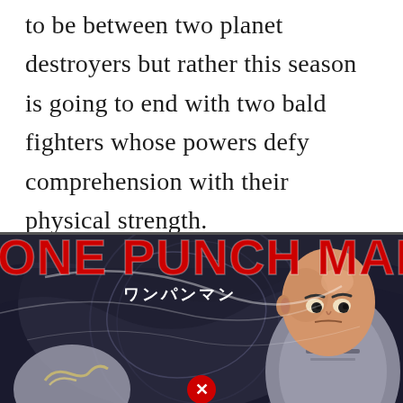to be between two planet destroyers but rather this season is going to end with two bald fighters whose powers defy comprehension with their physical strength.
[Figure (illustration): One Punch Man anime promotional image with large red bold text 'ONE PUNCH MAN' at the top, Japanese text 'ワンパンマン' below it, and artwork showing a bald male character (Saitama) in a grey suit on the right and another character partially visible on the lower left, with a red circle X button overlay near the bottom center.]